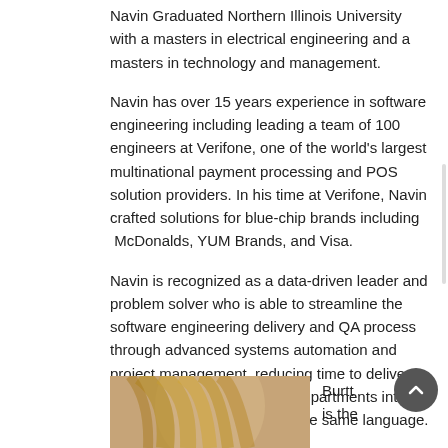Navin Graduated Northern Illinois University with a masters in electrical engineering and a masters in technology and management.
Navin has over 15 years experience in software engineering including leading a team of 100 engineers at Verifone, one of the world’s largest multinational payment processing and POS solution providers. In his time at Verifone, Navin crafted solutions for blue-chip brands including McDonalds, YUM Brands, and Visa.
Navin is recognized as a data-driven leader and problem solver who is able to streamline the software engineering delivery and QA process through advanced systems automation and project management, reducing time to delivery and aligning various IT sub-departments into a common system that speak the same language.
Tiffany Burtt, Founder & Chief Technology Officer of Bulb Tech
[Figure (photo): Photo of Tiffany Burtt, partially visible, showing hair and top of head]
Burtt is the